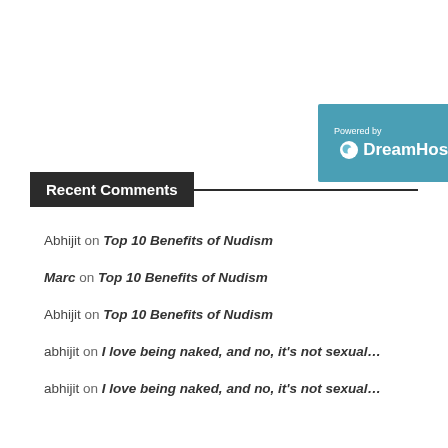[Figure (logo): DreamHost logo banner with 'Powered by' text above and DreamHost name with icon on teal/blue background]
Recent Comments
Abhijit on Top 10 Benefits of Nudism
Marc on Top 10 Benefits of Nudism
Abhijit on Top 10 Benefits of Nudism
abhijit on I love being naked, and no, it's not sexual...
abhijit on I love being naked, and no, it's not sexual...